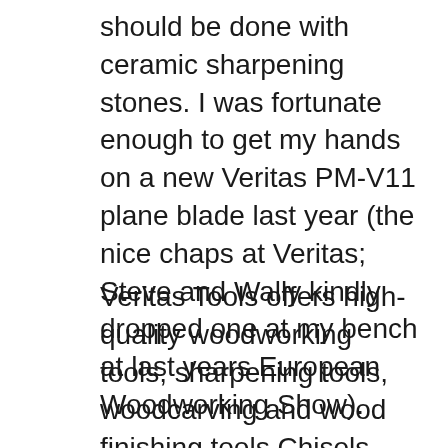should be done with ceramic sharpening stones. I was fortunate enough to get my hands on a new Veritas PM-V11 plane blade last year (the nice chaps at Veritas; Steve and Wally kindly dropped one at my bench at last years European Woodworking Show).
Veritas Tools offers high-quality woodworking tools, sharpening tools, woodcarving and wood finishing tools Chisels Carving Drilling Jigs Marking Tools Measuring Tools Bench Planes Custom Bench Planes Product Categories. To view products for each category, ... 2015-1-11 · The PM in PM-V11 stands for powder metallurgy. It is a